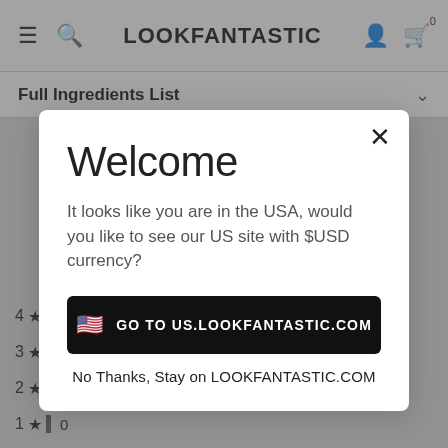LOOKFANTASTIC
Full Ingredients List
[Figure (screenshot): Modal dialog overlay on a shopping website. Title: Welcome. Body text: It looks like you are in the USA, would you like to see our US site with $USD currency? Primary button: GO TO US.LOOKFANTASTIC.COM. Secondary link: No Thanks, Stay on LOOKFANTASTIC.COM]
4 ★  2
3 ★  1
2 ★  0
1 ★  0